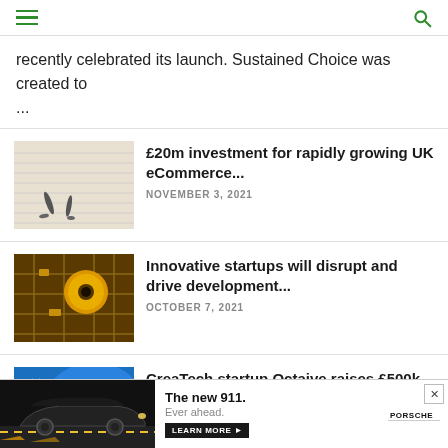recently celebrated its launch. Sustained Choice was created to ...
[Figure (photo): Two people casting shadows on a document with handwriting]
£20m investment for rapidly growing UK eCommerce...
NOVEMBER 3, 2021
[Figure (photo): Close-up of a circuit board with a coin on it, yellow tones]
Innovative startups will disrupt and drive development...
OCTOBER 7, 2021
[Figure (photo): Octaive branding with laptop and phone screens]
CreaTech startup Octaive raises £500k in angel...
[Figure (photo): Advertisement: Porsche 911 car on road - The new 911. Ever ahead. LEARN MORE button with Porsche logo]